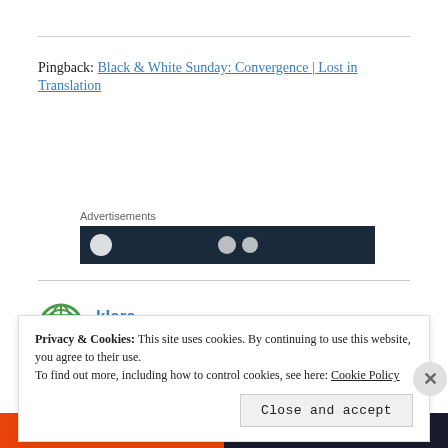Pingback: Black & White Sunday: Convergence | Lost in Translation
Advertisements
[Figure (other): Advertisement banner with dark navy background and partial circular icons]
klara
April 4, 2016 at 5:44 pm
Privacy & Cookies: This site uses cookies. By continuing to use this website, you agree to their use.
To find out more, including how to control cookies, see here: Cookie Policy
Close and accept
[Figure (other): Bottom advertisement bar with orange left half (All in One Free App) and dark right half (DuckDuckGo)]